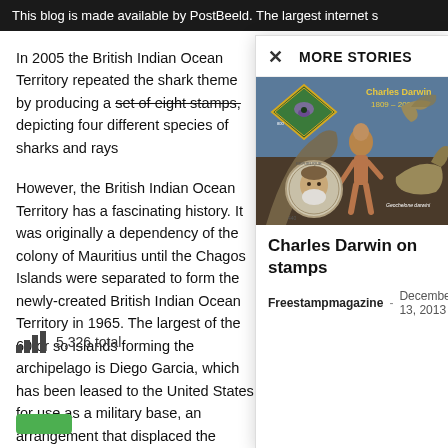This blog is made available by PostBeeld. The largest internet s
In 2005 the British Indian Ocean Territory repeated the shark theme by producing a set of eight stamps, depicting four different species of sharks and rays
However, the British Indian Ocean Territory has a fascinating history. It was originally a dependency of the colony of Mauritius until the Chagos Islands were separated to form the newly-created British Indian Ocean Territory in 1965. The largest of the 60 or so islands forming the archipelago is Diego Garcia, which has been leased to the United States for use as a military base, an arrangement that displaced the existing populat
5,326 total
[Figure (illustration): Modal popup showing 'MORE STORIES' with a stamp image featuring Charles Darwin 1809-2009 with dinosaurs and prehistoric creatures]
Charles Darwin on stamps
Freestampmagazine - December 13, 2013